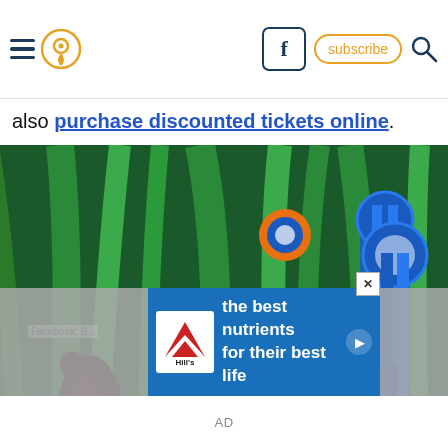navigation header with hamburger menu, location pin icon, Facebook icon, subscribe button, and search icon
also purchase discounted tickets online.
[Figure (photo): Dark maroon/purple orchid flowers with blue and orange ribbon awards, green leaves in background on teal backdrop]
[Figure (infographic): Advertisement banner: Hill's pet nutrition ad saying 'the best nutrients for their best life' with Hill's logo]
Facebook; S...
AD